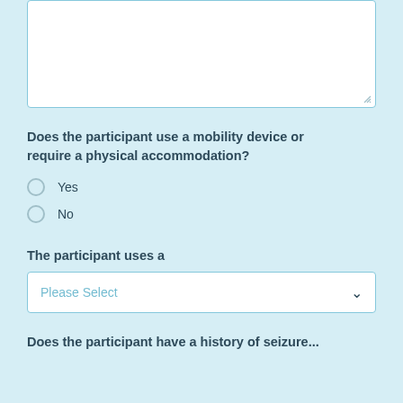[Figure (other): Empty white textarea input box with resize handle at bottom-right corner]
Does the participant use a mobility device or require a physical accommodation?
Yes
No
The participant uses a
[Figure (other): Dropdown select box with placeholder text 'Please Select' and a chevron arrow]
Does the participant have a history of seizure...